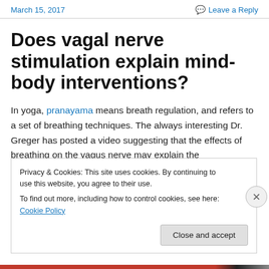March 15, 2017   Leave a Reply
Does vagal nerve stimulation explain mind-body interventions?
In yoga, pranayama means breath regulation, and refers to a set of breathing techniques. The always interesting Dr. Greger has posted a video suggesting that the effects of breathing on the vagus nerve may explain the
Privacy & Cookies: This site uses cookies. By continuing to use this website, you agree to their use.
To find out more, including how to control cookies, see here: Cookie Policy
Close and accept